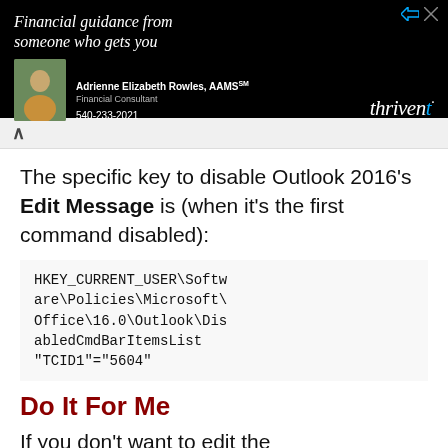[Figure (other): Advertisement banner for Thrivent Financial. Black background with text 'Financial guidance from someone who gets you', photo of Adrienne Elizabeth Rowles AAMS Financial Consultant, phone 540-233-2021, Thrivent logo.]
The specific key to disable Outlook 2016's Edit Message is (when it's the first command disabled):
HKEY_CURRENT_USER\Software\Policies\Microsoft\Office\16.0\Outlook\DisabledCmdBarItemsList
"TCID1"="5604"
Do It For Me
If you don't want to edit the